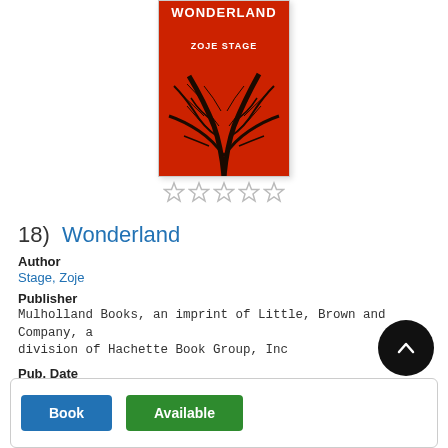[Figure (photo): Book cover of 'Wonderland' by Zoje Stage, red background with dark tree branches, white title text]
[Figure (other): Five empty/outline star rating icons]
18)  Wonderland
Author
Stage, Zoje
Publisher
Mulholland Books, an imprint of Little, Brown and Company, a division of Hachette Book Group, Inc
Pub. Date
2020.
Language
English
Appears on these lists
Books You May Have Missed 2020: Combined
Woodland Goth
Book | Available